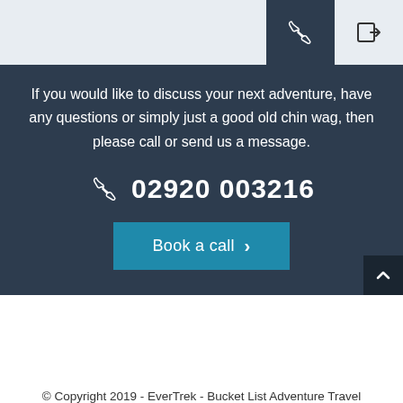[Phone icon tab] [Login/arrow icon tab]
If you would like to discuss your next adventure, have any questions or simply just a good old chin wag, then please call or send us a message.
02920 003216
Book a call
© Copyright 2019 - EverTrek - Bucket List Adventure Travel Limited UK no. 10586281 - Privacy Policy